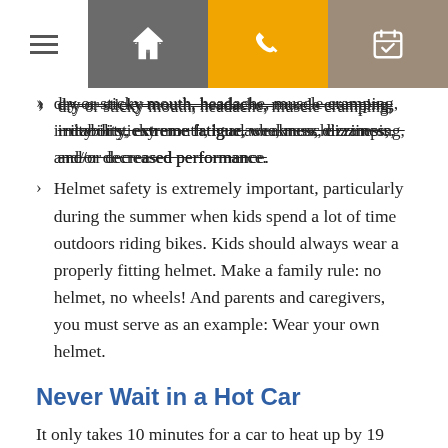[Navigation bar with hamburger menu, directions, phone, and calendar icons]
dry or sticky mouth, headache, muscle cramping, irritability, extreme fatigue, weakness, dizziness, and/or decreased performance.
Helmet safety is extremely important, particularly during the summer when kids spend a lot of time outdoors riding bikes. Kids should always wear a properly fitting helmet. Make a family rule: no helmet, no wheels! And parents and caregivers, you must serve as an example: Wear your own helmet.
Never Wait in a Hot Car
It only takes 10 minutes for a car to heat up by 19 degrees. Every so often, we hear news stories of parents forgetting infants or leaving a sleeping toddler in the car and the terrible tragedies that ensue. Never leave a child